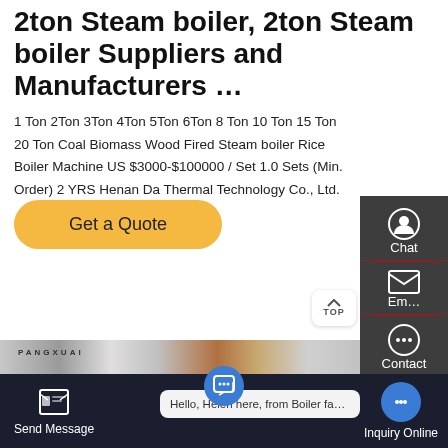2ton Steam boiler, 2ton Steam boiler Suppliers and Manufacturers …
1 Ton 2Ton 3Ton 4Ton 5Ton 6Ton 8 Ton 10 Ton 15 Ton 20 Ton Coal Biomass Wood Fired Steam boiler Rice Boiler Machine US $3000-$100000 / Set 1.0 Sets (Min. Order) 2 YRS Henan Da Thermal Technology Co., Ltd.
[Figure (screenshot): Get a Quote button (yellow/gold rounded rectangle) and sidebar with Chat, Email, Contact icons on dark background, plus TOP button]
[Figure (photo): Industrial steam boilers with pipes, Pangxuai brand signage visible]
Hello, Helen here, from Boiler factory 🙂
Send Message
Inquiry Online